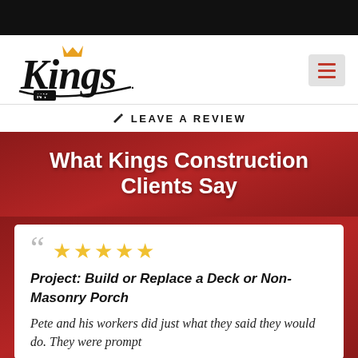[Figure (logo): Kings NY construction company logo in script font with crown icon]
LEAVE A REVIEW
What Kings Construction Clients Say
Project: Build or Replace a Deck or Non-Masonry Porch
Pete and his workers did just what they said they would do. They were prompt